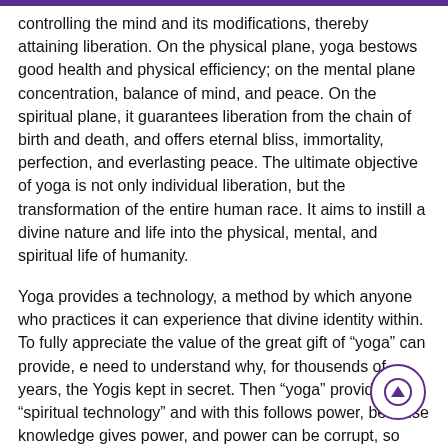controlling the mind and its modifications, thereby attaining liberation. On the physical plane, yoga bestows good health and physical efficiency; on the mental plane concentration, balance of mind, and peace. On the spiritual plane, it guarantees liberation from the chain of birth and death, and offers eternal bliss, immortality, perfection, and everlasting peace. The ultimate objective of yoga is not only individual liberation, but the transformation of the entire human race. It aims to instill a divine nature and life into the physical, mental, and spiritual life of humanity.
Yoga provides a technology, a method by which anyone who practices it can experience that divine identity within. To fully appreciate the value of the great gift of “yoga” can provide, e need to understand why, for thousends of years, the Yogis kept in secret. Then “yoga” provides “spiritual technology” and with this follows power, because knowledge gives power, and power can be corrupt, so they kept this knowledge secret. The Matrix using science in a corrupt way that binds, captivates and imprison humans into The matrix, and same “yoga technology” or “ quantum spiritual technology” can be used to free and liberate